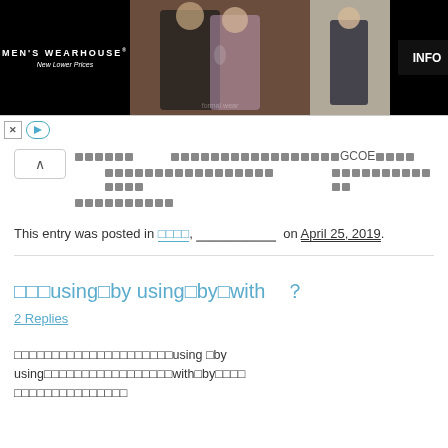[Figure (photo): Men's Wearhouse advertisement banner showing a couple in formal wear and a child in a suit, with INFO button]
← [Japanese characters] [Japanese characters]GCOE[Japanese characters]
[Japanese characters] [Japanese characters]
[Japanese characters]
This entry was posted in [Japanese], __________ on April 25, 2019.
[Japanese]using/by using/by/with ?
2 Replies
[Japanese characters]using /by using[Japanese characters]with/by[Japanese characters]